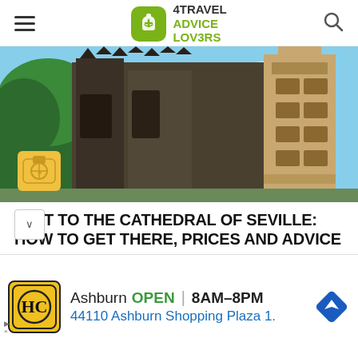4Travel Advice Lovers
[Figure (photo): Photo of Seville Cathedral exterior showing Gothic facade and Giralda tower against blue sky]
VISIT TO THE CATHEDRAL OF SEVILLE: HOW TO GET THERE, PRICES AND ADVICE
La Seville Cathedral it measures 126 meters long, 83 wide and 37 high, and covers an area of 11.000 square meters: numbers have made it the largest church in Spain and the third largest
[Figure (screenshot): Advertisement banner: HC logo, Ashburn OPEN 8AM-8PM, 44110 Ashburn Shopping Plaza 1., navigation arrow icon]